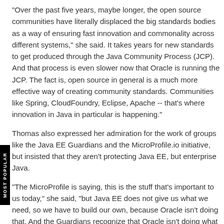"Over the past five years, maybe longer, the open source communities have literally displaced the big standards bodies as a way of ensuring fast innovation and commonality across different systems," she said. It takes years for new standards to get produced through the Java Community Process (JCP). And that process is even slower now that Oracle is running the JCP. The fact is, open source in general is a much more effective way of creating community standards. Communities like Spring, CloudFoundry, Eclipse, Apache -- that's where innovation in Java in particular is happening."
Thomas also expressed her admiration for the work of groups like the Java EE Guardians and the MicroProfile.io initiative, but insisted that they aren't protecting Java EE, but enterprise Java.
"The MicroProfile is saying, this is the stuff that's important to us today," she said, "but Java EE does not give us what we need, so we have to build our own, because Oracle isn't doing that. And the Guardians recognize that Oracle isn't doing what is needed to maintain Java as a critical enterprise language and platform for the modern age."
Posted by John K. Waters on February 16, 2017 at 9:45 AM